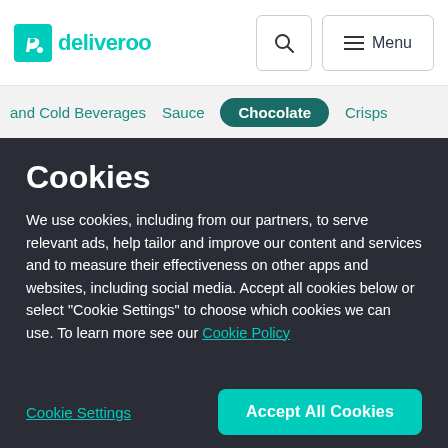[Figure (screenshot): Deliveroo website header with logo, search button, and menu button on white background]
and Cold Beverages  Sauce  Chocolate  Crisps
Cookies
We use cookies, including from our partners, to serve relevant ads, help tailor and improve our content and services and to measure their effectiveness on other apps and websites, including social media. Accept all cookies below or select “Cookie Settings” to choose which cookies we can use. To learn more see our Cookie Policy
Cookie Settings
Accept All Cookies